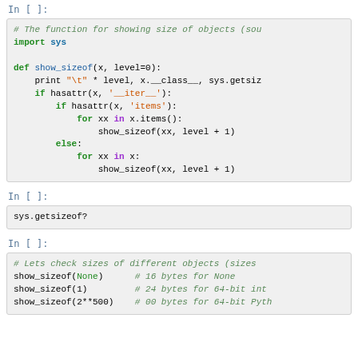In [ ]:
# The function for showing size of objects (sou
import sys

def show_sizeof(x, level=0):
    print "\t" * level, x.__class__, sys.getsiz
    if hasattr(x, '__iter__'):
        if hasattr(x, 'items'):
            for xx in x.items():
                show_sizeof(xx, level + 1)
        else:
            for xx in x:
                show_sizeof(xx, level + 1)
In [ ]:
sys.getsizeof?
In [ ]:
# Lets check sizes of different objects (sizes
show_sizeof(None)      # 16 bytes for None
show_sizeof(1)         # 24 bytes for 64-bit int
show_sizeof(2**500)    # 00 bytes for 64-bit Pyth